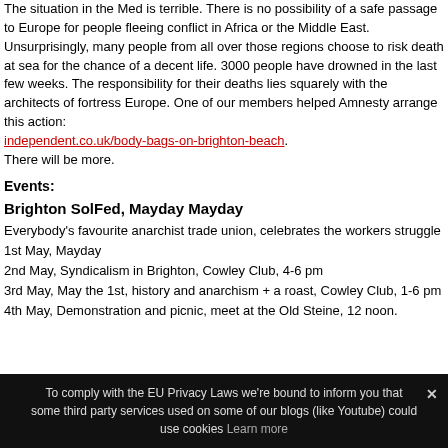The situation in the Med is terrible. There is no possibility of a safe passage to Europe for people fleeing conflict in Africa or the Middle East. Unsurprisingly, many people from all over those regions choose to risk death at sea for the chance of a decent life. 3000 people have drowned in the last few weeks. The responsibility for their deaths lies squarely with the architects of fortress Europe. One of our members helped Amnesty arrange this action: independent.co.uk/body-bags-on-brighton-beach. There will be more.
Events:
Brighton SolFed, Mayday Mayday
Everybody's favourite anarchist trade union, celebrates the workers struggle
1st May, Mayday
2nd May, Syndicalism in Brighton, Cowley Club, 4-6 pm
3rd May, May the 1st, history and anarchism + a roast, Cowley Club, 1-6 pm
4th May, Demonstration and picnic, meet at the Old Steine, 12 noon.
To comply with the EU Privacy Laws we're bound to inform you that some third party services used on some of our blogs (like Youtube) could use cookies Learn more